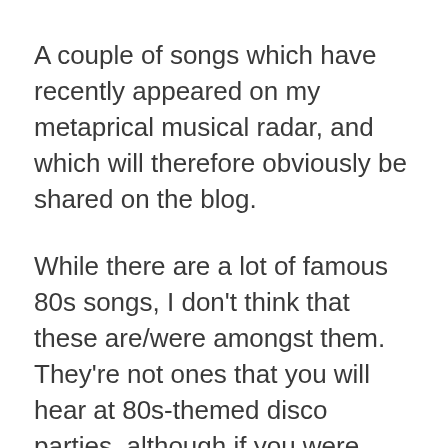A couple of songs which have recently appeared on my metaprical musical radar, and which will therefore obviously be shared on the blog.
While there are a lot of famous 80s songs, I don't think that these are/were amongst them. They're not ones that you will hear at 80s-themed disco parties, although if you were looking for a archetypal early 80s analogue synth piece, this first one really does tick all the boxes. And (like